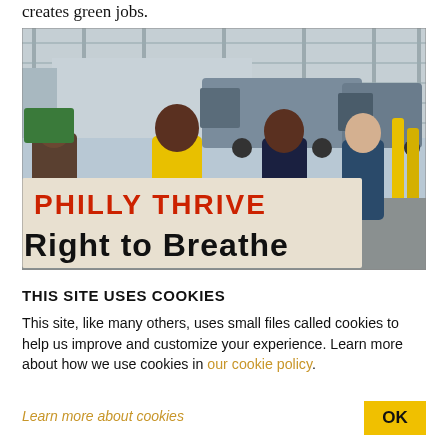creates green jobs.
[Figure (photo): Protesters outside a fenced industrial facility holding a banner reading 'PHILLY THRIVE Right to Breathe'. People in yellow shirts and casual clothing hold the banner in front of large trucks and chain-link fence.]
THIS SITE USES COOKIES
This site, like many others, uses small files called cookies to help us improve and customize your experience. Learn more about how we use cookies in our cookie policy.
Learn more about cookies
OK